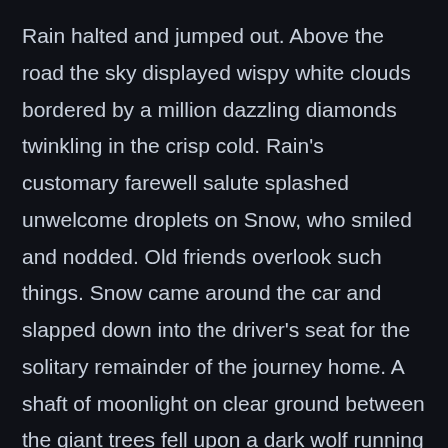Rain halted and jumped out. Above the road the sky displayed wispy white clouds bordered by a million dazzling diamonds twinkling in the crisp cold. Rain's customary farewell salute splashed unwelcome droplets on Snow, who smiled and nodded. Old friends overlook such things. Snow came around the car and slapped down into the driver's seat for the solitary remainder of the journey home. A shaft of moonlight on clear ground between the giant trees fell upon a dark wolf running parallel to the road. Snow slowed and watched until the wolf disappeared into long shadows. Wanting to arrive home as early as possible, Snow sped up to the pace of a wedge of geese above, their flight